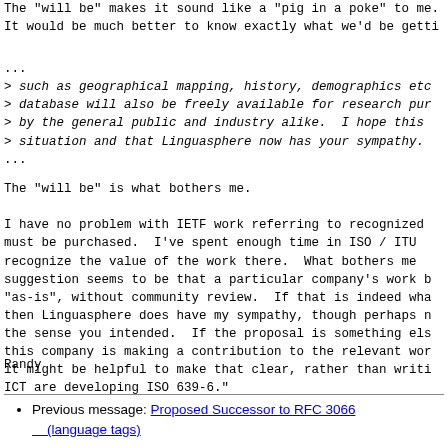The  "will be"  makes it sound like a  "pig in a poke"  to me.
It would be much better to know exactly what we'd be getti
...
> such as geographical mapping, history, demographics etc
> database will also be freely available for research pur
> by the general public and industry alike.  I hope this
> situation and that Linguasphere now has your sympathy.
...
The "will be" is what bothers me.
I have no problem with IETF work referring to recognized
must be purchased.  I've spent enough time in ISO / ITU
recognize the value of the work there.  What bothers me
suggestion seems to be that a particular company's work b
"as-is", without community review.  If that is indeed wha
then Linguasphere does have my sympathy, though perhaps n
the sense you intended.  If the proposal is something els
this company is making a contribution to the relevant wor
it might be helpful to make that clear, rather than writi
ICT are developing ISO 639-6."
Randy
Previous message: Proposed Successor to RFC 3066 (language tags)